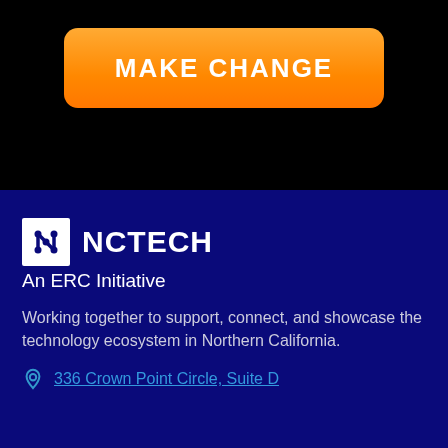[Figure (screenshot): Orange rounded button with white bold text reading MAKE CHANGE on a black background]
[Figure (logo): NCTech logo - white square with stylized N icon followed by NCTECH text in white, with subtitle An ERC Initiative, on dark navy background]
Working together to support, connect, and showcase the technology ecosystem in Northern California.
336 Crown Point Circle, Suite D